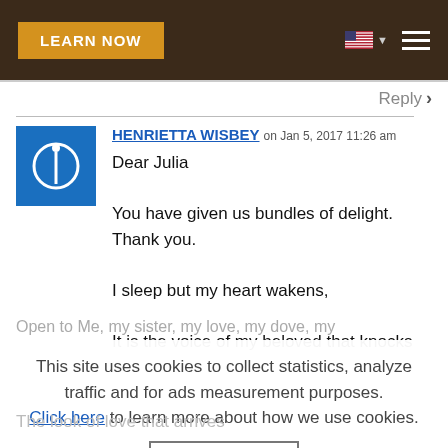[Figure (screenshot): Navigation bar with 'LEARN NOW' button, US flag icon with dropdown caret, and hamburger menu on dark brown background]
Reply >
HENRIETTA WISBEY on Jan 5, 2017 11:26 am
Dear Julia

You have given us bundles of delight. Thank you.

I sleep but my heart wakens,

It is the voice of my beloved that knocks
Open to Me, my sister, my love, my dove, my
This site uses cookies to collect statistics, analyze traffic and for ads measurement purposes.
Click here to learn more about how we use cookies.
OK
The look of love that arrives